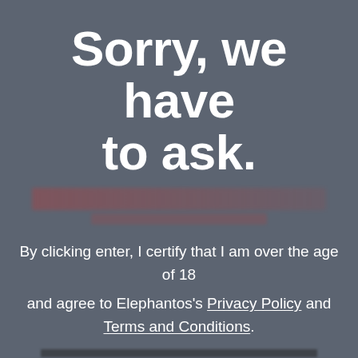Sorry, we have to ask.
By clicking enter, I certify that I am over the age of 18 and agree to Elephantos's Privacy Policy and Terms and Conditions.
Yes, continue to the store!